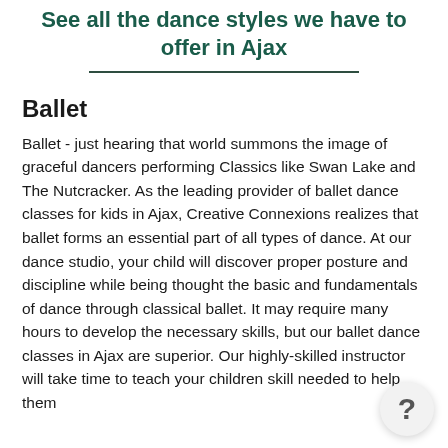See all the dance styles we have to offer in Ajax
Ballet
Ballet - just hearing that world summons the image of graceful dancers performing Classics like Swan Lake and The Nutcracker. As the leading provider of ballet dance classes for kids in Ajax, Creative Connexions realizes that ballet forms an essential part of all types of dance. At our dance studio, your child will discover proper posture and discipline while being thought the basic and fundamentals of dance through classical ballet. It may require many hours to develop the necessary skills, but our ballet dance classes in Ajax are superior. Our highly-skilled instructor will take time to teach your children skill needed to help them